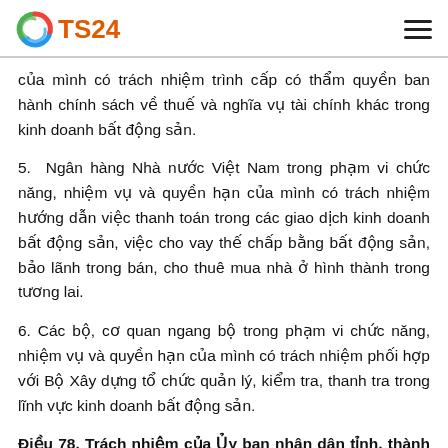TS24
của mình có trách nhiệm trình cấp có thẩm quyền ban hành chính sách về thuế và nghĩa vụ tài chính khác trong kinh doanh bất động sản.
5. Ngân hàng Nhà nước Việt Nam trong phạm vi chức năng, nhiệm vụ và quyền hạn của mình có trách nhiệm hướng dẫn việc thanh toán trong các giao dịch kinh doanh bất động sản, việc cho vay thế chấp bằng bất động sản, bảo lãnh trong bán, cho thuê mua nhà ở hình thành trong tương lai.
6. Các bộ, cơ quan ngang bộ trong phạm vi chức năng, nhiệm vụ và quyền hạn của mình có trách nhiệm phối hợp với Bộ Xây dựng tổ chức quản lý, kiểm tra, thanh tra trong lĩnh vực kinh doanh bất động sản.
Điều 78. Trách nhiệm của Ủy ban nhân dân tỉnh, thành phố